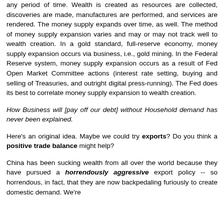any period of time. Wealth is created as resources are collected, discoveries are made, manufactures are performed, and services are rendered. The money supply expands over time, as well. The method of money supply expansion varies and may or may not track well to wealth creation. In a gold standard, full-reserve economy, money supply expansion occurs via business, i.e., gold mining. In the Federal Reserve system, money supply expansion occurs as a result of Fed Open Market Committee actions (interest rate setting, buying and selling of Treasuries, and outright digital press-running). The Fed does its best to correlate money supply expansion to wealth creation.
How Business will [pay off our debt] without Household demand has never been explained.
Here's an original idea. Maybe we could try exports? Do you think a positive trade balance might help?
China has been sucking wealth from all over the world because they have pursued a horrendously aggressive export policy -- so horrendous, in fact, that they are now backpedaling furiously to create domestic demand. We're